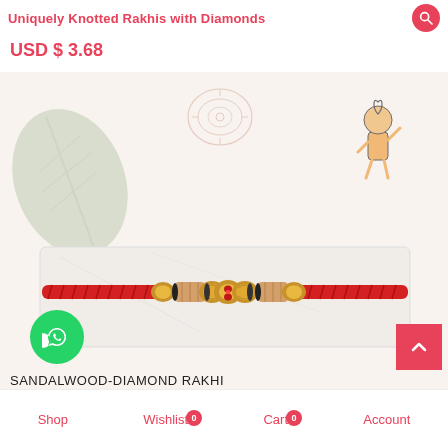Uniquely Knotted Rakhis with Diamonds
USD $ 3.68
[Figure (photo): Product photo of a Sandalwood-Diamond Rakhi bracelet with red braided rope, gold ornamental beads, and sandalwood cylindrical pieces, displayed on a white marble slab. Decorative leaf watermark and mandala pattern in background, cartoon child illustration in top right.]
SANDALWOOD-DIAMOND RAKHI
Shop   Wishlist 0   Cart 0   Account